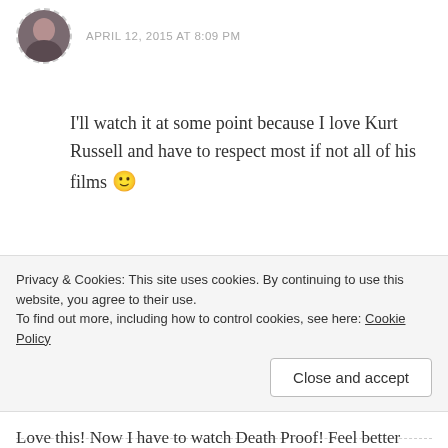APRIL 12, 2015 AT 8:09 PM
I'll watch it at some point because I love Kurt Russell and have to respect most if not all of his films 🙂
★ Like
Pingback: Attention Readers – Take 2 | Back to the Viewer
Privacy & Cookies: This site uses cookies. By continuing to use this website, you agree to their use.
To find out more, including how to control cookies, see here: Cookie Policy
Close and accept
Love this! Now I have to watch Death Proof! Feel better